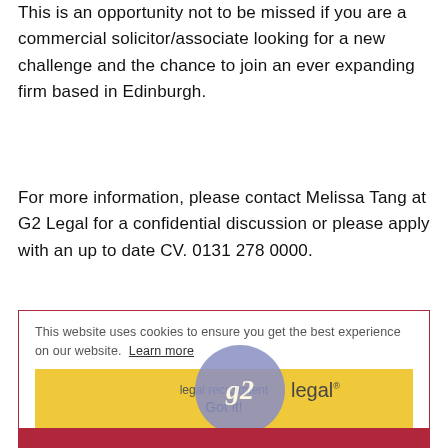This is an opportunity not to be missed if you are a commercial solicitor/associate looking for a new challenge and the chance to join an ever expanding firm based in Edinburgh.
For more information, please contact Melissa Tang at G2 Legal for a confidential discussion or please apply with an up to date CV. 0131 278 0000.
This website uses cookies to ensure you get the best experience on our website. Learn more
[Figure (logo): G2 Legal logo with purple circle containing italic g2 and 'legal' text with registered trademark symbol, with 'legal recruitment' text below]
Got it!
G2 Legal Limited